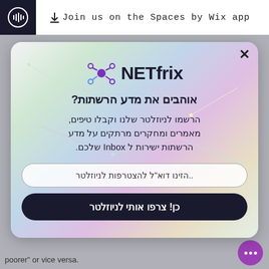Join us on the Spaces by Wix app
[Figure (screenshot): NETfrix newsletter signup modal popup with Hebrew text on a colorful pastel network background. Contains logo, Hebrew heading, body text, and two buttons.]
poorer" or vice versa.